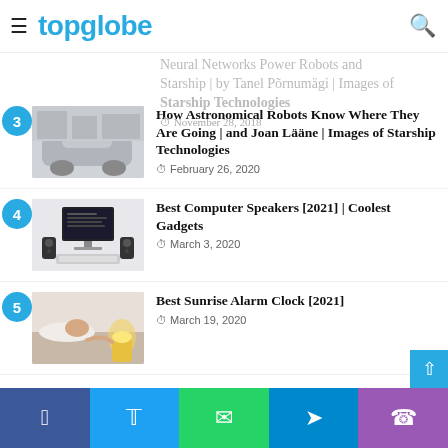topglobe
Neural Networks Power Robots and Starship | by Tanel Põrnumägi | Images of Starship Technologies
3. How Astronomical Robots Know Where They Are Going | and Joan Lääne | Images of Starship Technologies — February 26, 2020
4. Best Computer Speakers [2021] | Coolest Gadgets — March 3, 2020
5. Best Sunrise Alarm Clock [2021] — March 19, 2020
Facebook | Twitter | WhatsApp | Telegram | Phone